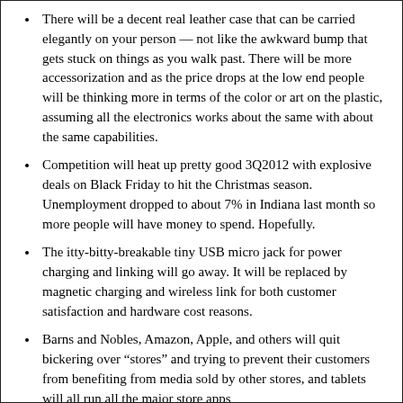There will be a decent real leather case that can be carried elegantly on your person — not like the awkward bump that gets stuck on things as you walk past. There will be more accessorization and as the price drops at the low end people will be thinking more in terms of the color or art on the plastic, assuming all the electronics works about the same with about the same capabilities.
Competition will heat up pretty good 3Q2012 with explosive deals on Black Friday to hit the Christmas season. Unemployment dropped to about 7% in Indiana last month so more people will have money to spend. Hopefully.
The itty-bitty-breakable tiny USB micro jack for power charging and linking will go away. It will be replaced by magnetic charging and wireless link for both customer satisfaction and hardware cost reasons.
Barns and Nobles, Amazon, Apple, and others will quit bickering over “stores” and trying to prevent their customers from benefiting from media sold by other stores, and tablets will all run all the major store apps